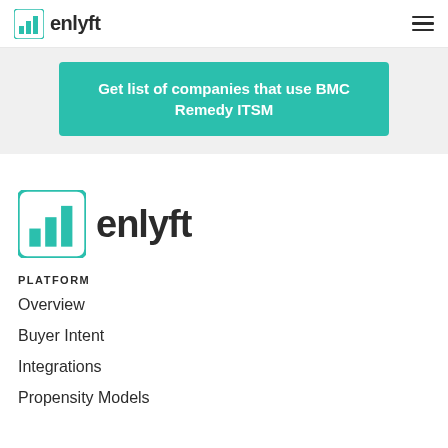enlyft
[Figure (logo): Enlyft logo with teal bar chart icon and 'enlyft' wordmark in dark text, hamburger menu icon on right]
Get list of companies that use BMC Remedy ITSM
[Figure (logo): Large Enlyft logo with teal bar chart icon and 'enlyft' wordmark in dark text]
PLATFORM
Overview
Buyer Intent
Integrations
Propensity Models